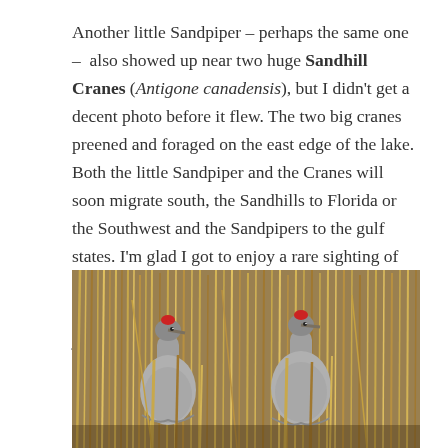Another little Sandpiper – perhaps the same one –  also showed up near two huge Sandhill Cranes (Antigone canadensis), but I didn't get a decent photo before it flew. The two big cranes preened and foraged on the east edge of the lake. Both the little Sandpiper and the Cranes will soon migrate south, the Sandhills to Florida or the Southwest and the Sandpipers to the gulf states. I'm glad I got to enjoy a rare sighting of the sandpiper and to bid farewell to all of these water birds before they started their long journeys.
[Figure (photo): Two Sandhill Cranes with red crowns standing among tall dry golden reeds/grasses, viewed from the front, their gray feathered bodies visible below the vegetation]